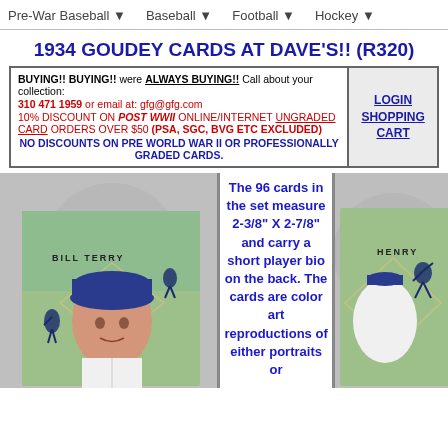Pre-War Baseball ▼   Baseball ▼   Football ▼   Hockey ▼
1934 GOUDEY CARDS AT DAVE'S!! (R320)
BUYING!! BUYING!! were ALWAYS BUYING!! Call about your collection: 310 471 1959 or email at: gfg@gfg.com 10% DISCOUNT ON POST WWII ONLINE/INTERNET UNGRADED CARD ORDERS OVER $50 (PSA, SGC, BVG ETC EXCLUDED) NO DISCOUNTS ON PRE WORLD WAR II OR PROFESSIONALLY GRADED CARDS.
LOGIN SHOPPING CART
[Figure (photo): Bill Terry 1934 Goudey baseball card - color art portrait of Bill Terry in baseball cap]
The 96 cards in the set measure 2-3/8" X 2-7/8" and carry a short player bio on the back. The cards are color art reproductions of either portraits or
[Figure (photo): Partial Henry (HENRY) 1934 Goudey baseball card - color art showing player]